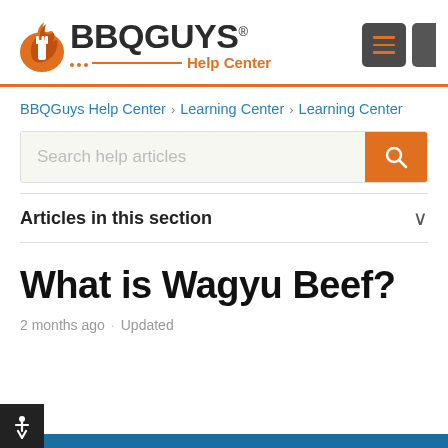[Figure (logo): BBQGuys Help Center logo with orange flame/fork icon]
BBQGuys Help Center
BBQGuys Help Center > Learning Center > Learning Center
Search help articles
Articles in this section
What is Wagyu Beef?
2 months ago · Updated